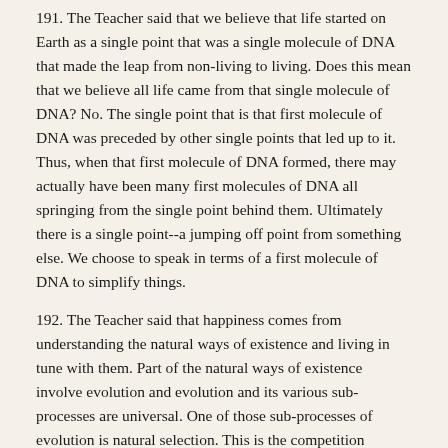191.  The Teacher said that we believe that life started on Earth as a single point that was a single molecule of DNA that made the leap from non-living to living.  Does this mean that we believe all life came from that single molecule of DNA?  No.  The single point that is that first molecule of DNA was preceded by other single points that led up to it.  Thus, when that first molecule of DNA formed, there may actually have been many first molecules of DNA all springing from the single point behind them.  Ultimately there is a single point--a jumping off point from something else.  We choose to speak in terms of a first molecule of DNA to simplify things.
192.  The Teacher said that happiness comes from understanding the natural ways of existence and living in tune with them.  Part of the natural ways of existence involve evolution and evolution and its various sub-processes are universal.  One of those sub-processes of evolution is natural selection.  This is the competition between everything to be the dominant type of its kind. This is basic.  The competition is not only between different types of organisms but it exists right within our own bodies as those tiny parts of our genetic code called genes "fight" to be dominant.  Within us, for example, we may have alleles for several color eyes, and since only one of them can win and be expressed, we have a struggle between them.  It is the same with skin colour, tone, texture and all other things about us.  We, as complete human beings, are a bundle of the winners of all the various options within.  Blond hair?  It won